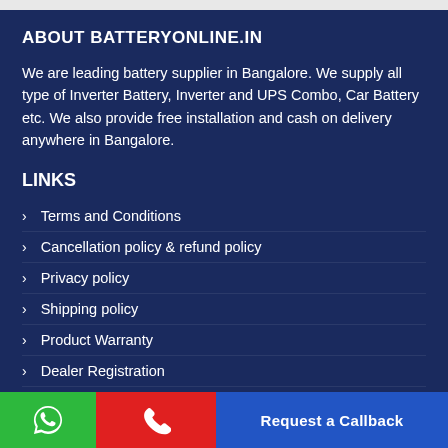ABOUT BATTERYONLINE.IN
We are leading battery supplier in Bangalore. We supply all type of Inverter Battery, Inverter and UPS Combo, Car Battery etc. We also provide free installation and cash on delivery anywhere in Bangalore.
LINKS
Terms and Conditions
Cancellation policy & refund policy
Privacy policy
Shipping policy
Product Warranty
Dealer Registration
WhatsApp | Phone | Request a Callback